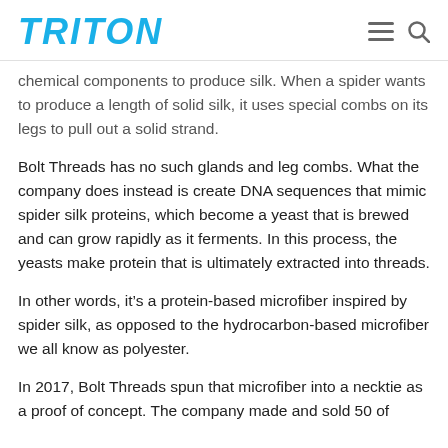TRITON
chemical components to produce silk. When a spider wants to produce a length of solid silk, it uses special combs on its legs to pull out a solid strand.
Bolt Threads has no such glands and leg combs. What the company does instead is create DNA sequences that mimic spider silk proteins, which become a yeast that is brewed and can grow rapidly as it ferments. In this process, the yeasts make protein that is ultimately extracted into threads.
In other words, it’s a protein-based microfiber inspired by spider silk, as opposed to the hydrocarbon-based microfiber we all know as polyester.
In 2017, Bolt Threads spun that microfiber into a necktie as a proof of concept. The company made and sold 50 of